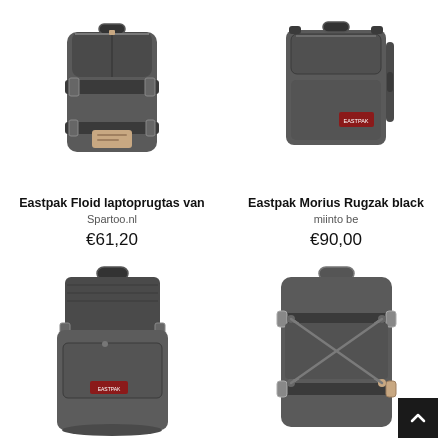[Figure (photo): Eastpak Floid laptop backpack in dark grey with buckle straps and tan leather label, front view]
Eastpak Floid laptoprugtas van
Spartoo.nl
€61,20
[Figure (photo): Eastpak Morius Rugzak black with front zip pocket and Eastpak logo patch, front view]
Eastpak Morius Rugzak black
miinto be
€90,00
[Figure (photo): Eastpak roll-top backpack in dark grey with Eastpak logo patch and front zip pocket, front view]
[Figure (photo): Eastpak backpack in dark grey with bungee cord front panel and tan leather accents, front view]